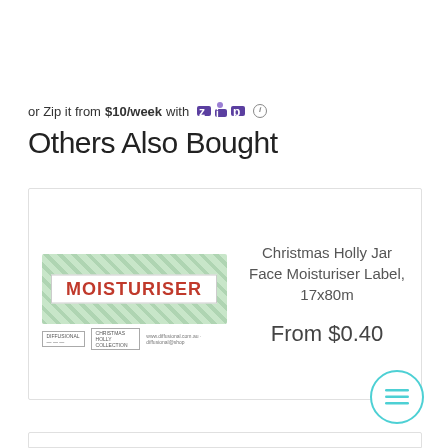or Zip it from $10/week with Zip ℹ
Others Also Bought
[Figure (photo): Product card showing a Christmas Holly Jar Face Moisturiser Label with a green holly pattern background and red 'MOISTURISER' text in the center, with small footer logos below. Product name: Christmas Holly Jar Face Moisturiser Label, 17x80m. Price: From $0.40]
Christmas Holly Jar Face Moisturiser Label, 17x80m
From $0.40